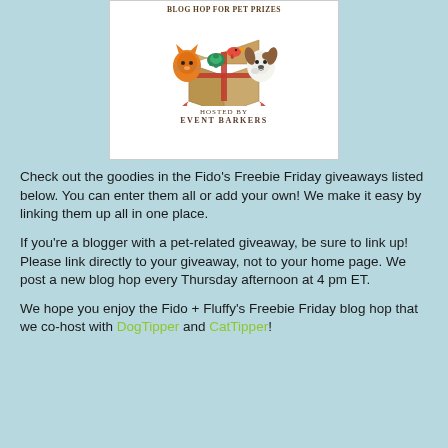[Figure (illustration): Blog Hop for Pet Prizes banner image with cartoon cat, dog, turtle, and bird around a gift box. Hosted by Event Barkers text below illustration.]
Check out the goodies in the Fido’s Freebie Friday giveaways listed below. You can enter them all or add your own! We make it easy by linking them up all in one place.
If you’re a blogger with a pet-related giveaway, be sure to link up! Please link directly to your giveaway, not to your home page. We post a new blog hop every Thursday afternoon at 4 pm ET.
We hope you enjoy the Fido + Fluffy’s Freebie Friday blog hop that we co-host with DogTipper and CatTipper!